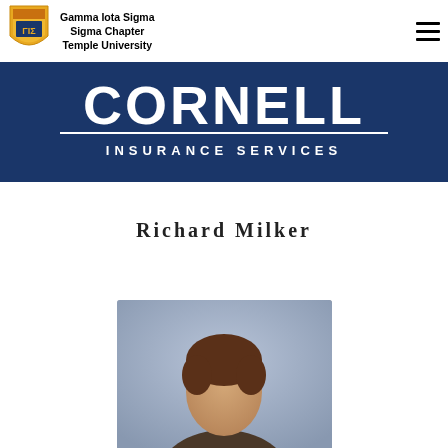Gamma Iota Sigma Sigma Chapter Temple University
[Figure (logo): Gamma Iota Sigma shield logo in gold and white]
[Figure (photo): Cornell Insurance Services banner — dark navy blue background with CORNELL in large white letters and INSURANCE SERVICES below]
Richard Milker
[Figure (photo): Headshot photo of Richard Milker]